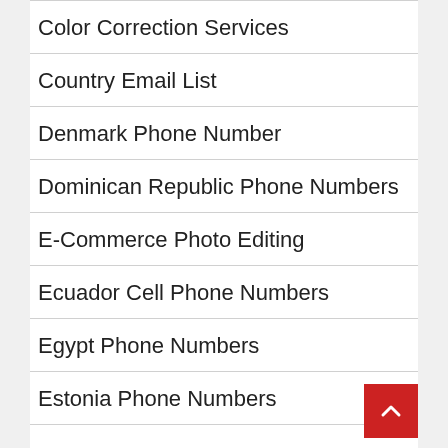Color Correction Services
Country Email List
Denmark Phone Number
Dominican Republic Phone Numbers
E-Commerce Photo Editing
Ecuador Cell Phone Numbers
Egypt Phone Numbers
Estonia Phone Numbers